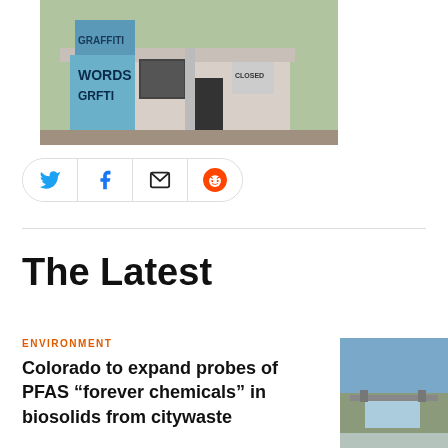[Figure (photo): Abandoned building with graffiti on walls and overgrown vegetation in front, with a 'CLOSED' sign visible]
[Figure (infographic): Social share buttons for Twitter, Facebook, Email, and Reddit in a pill-shaped bar]
The Latest
ENVIRONMENT
Colorado to expand probes of PFAS “forever chemicals” in biosolids from citywaste
[Figure (photo): Aerial or wide view of a river with a bridge over it in cold/winter conditions]